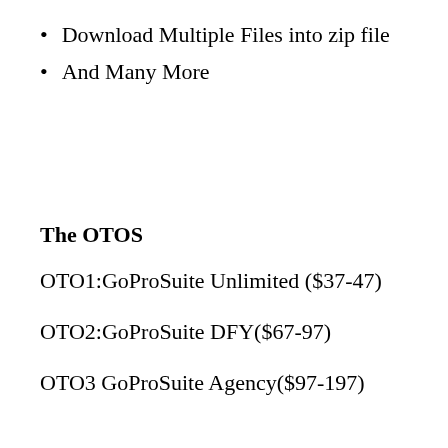Download Multiple Files into zip file
And Many More
The OTOS
OTO1:GoProSuite Unlimited ($37-47)
OTO2:GoProSuite DFY($67-97)
OTO3 GoProSuite Agency($97-197)